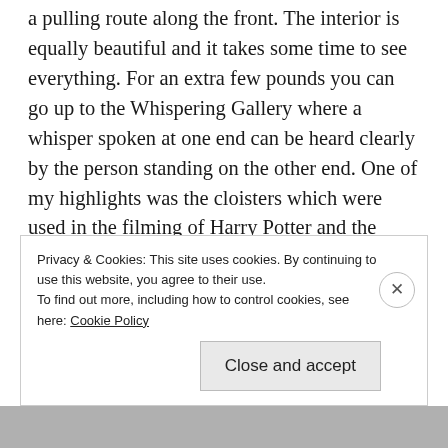a pulling route along the front. The interior is equally beautiful and it takes some time to see everything. For an extra few pounds you can go up to the Whispering Gallery where a whisper spoken at one end can be heard clearly by the person standing on the other end. One of my highlights was the cloisters which were used in the filming of Harry Potter and the Philosopher's Stone. I recommend buying the 1 pound map of the cloisters as it provides more information on the various pieces of history and movie trivia as you walk around.
Privacy & Cookies: This site uses cookies. By continuing to use this website, you agree to their use.
To find out more, including how to control cookies, see here: Cookie Policy
Close and accept